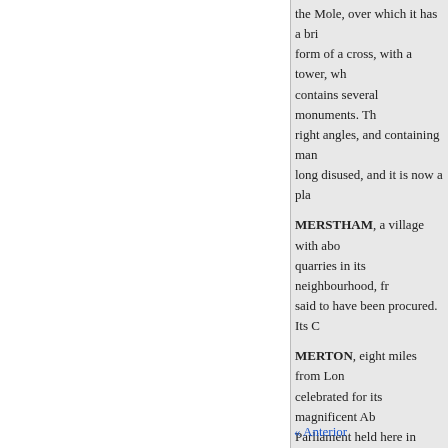the Mole, over which it has a bri form of a cross, with a tower, wh contains several monuments. Th right angles, and containing man long disused, and it is now a pla
MERSTHAM, a village with ab quarries in its neighbourhood, fr said to have been procured. Its C
MERTON, eight miles from Lo celebrated for its magnificent Ab Parliament held here in 1236, th in withstanding the insidious att
the mountain; and that, above all hat, at 30 miles distance, you be southward the most delicious ru towards the north, you look full over the very stomachers of it, s and Highgate beyond it!"- Fami
N
« Anterior